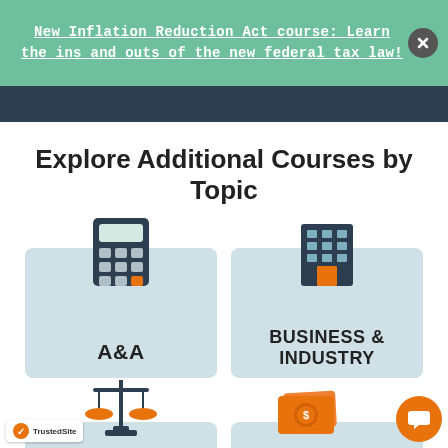New Inflation Reduction Act course: Learn the ins and outs of the new federal tax law!
Explore Additional Courses by Topic
[Figure (infographic): Course topic card with calculator icon labeled A&A]
[Figure (infographic): Course topic card with building icon labeled BUSINESS & INDUSTRY]
[Figure (infographic): Course topic card with scales of justice icon labeled ETHICS (partially visible)]
[Figure (infographic): Course topic card with money/cash icon labeled FINANCIAL (partially visible)]